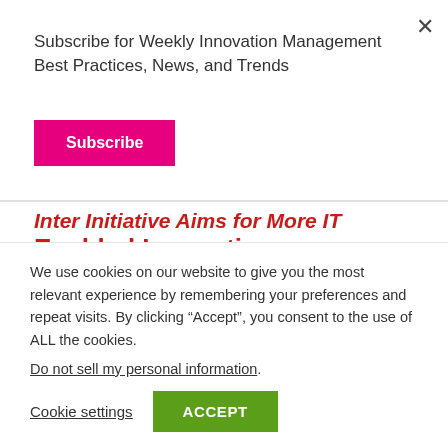Subscribe for Weekly Innovation Management Best Practices, News, and Trends
Subscribe
Inter Initiative Aims for More IT Enabled Innovation
The Innovation Value Institute (IVI) is a unique industry-academic open innovation consortium. IVI
We use cookies on our website to give you the most relevant experience by remembering your preferences and repeat visits. By clicking “Accept”, you consent to the use of ALL the cookies.
Do not sell my personal information.
Cookie settings
ACCEPT